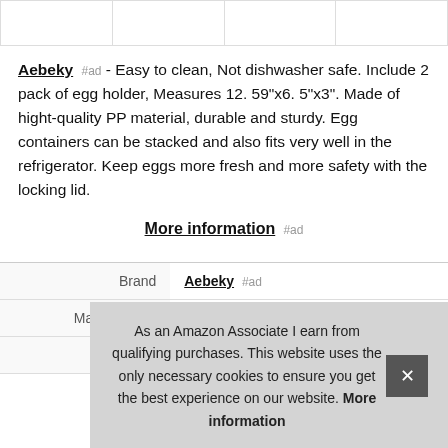[Figure (photo): Row of four product thumbnail images at the top of the page]
Aebeky #ad - Easy to clean, Not dishwasher safe. Include 2 pack of egg holder, Measures 12. 59"x6. 5"x3". Made of hight-quality PP material, durable and sturdy. Egg containers can be stacked and also fits very well in the refrigerator. Keep eggs more fresh and more safety with the locking lid.
More information #ad
|  |  |
| --- | --- |
| Brand | Aebeky #ad |
| Manufacturer | Aebekier #ad |
As an Amazon Associate I earn from qualifying purchases. This website uses the only necessary cookies to ensure you get the best experience on our website. More information